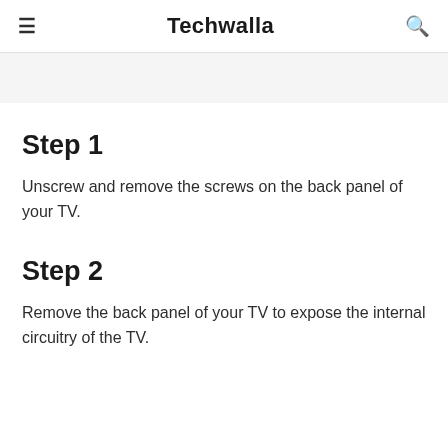≡  Techwalla  🔍
Step 1
Unscrew and remove the screws on the back panel of your TV.
Step 2
Remove the back panel of your TV to expose the internal circuitry of the TV.